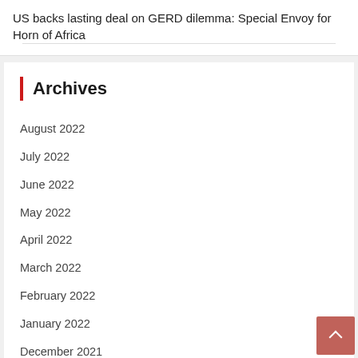US backs lasting deal on GERD dilemma: Special Envoy for Horn of Africa
Archives
August 2022
July 2022
June 2022
May 2022
April 2022
March 2022
February 2022
January 2022
December 2021
November 2021
October 2021
September 2021